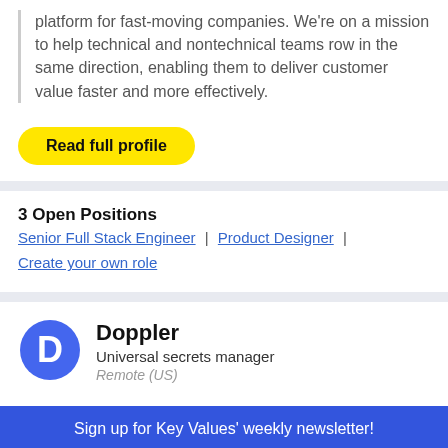platform for fast-moving companies. We're on a mission to help technical and nontechnical teams row in the same direction, enabling them to deliver customer value faster and more effectively.
Read full profile
3 Open Positions
Senior Full Stack Engineer | Product Designer | Create your own role
Doppler
Universal secrets manager
Remote (US)
Sign up for Key Values' weekly newsletter!
Enter email address  SUBSCRIBE